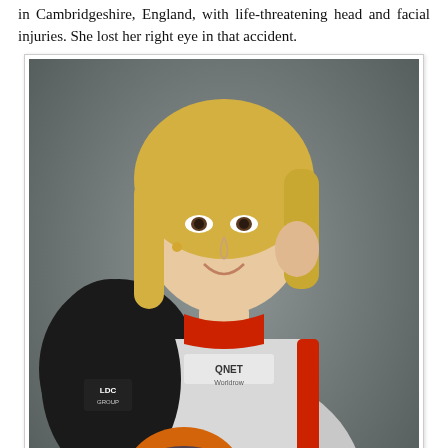in Cambridgeshire, England, with life-threatening head and facial injuries. She lost her right eye in that accident.
[Figure (photo): A blonde woman in a racing driver suit holding a helmet with a star design, photographed against a grey background. Caption reads: © AFP/Getty Images]
De Villota made her first public appearance since the accident in October, giving an exclusive interview to a magazine and then hosting a press conference for the general media. Now on 11/10/2012, exactly one year from her first public appearance after